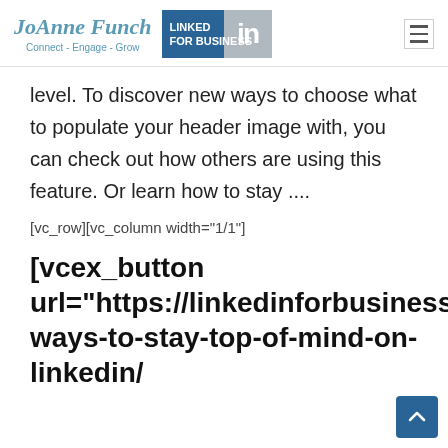JoAnne Funch Connect - Engage - Grow | LinkedIn For Business
level. To discover new ways to choose what to populate your header image with, you can check out how others are using this feature. Or learn how to stay ....
[vc_row][vc_column width="1/1"]
[vcex_button url="https://linkedinforbusiness.net/15-ways-to-stay-top-of-mind-on-linkedin/